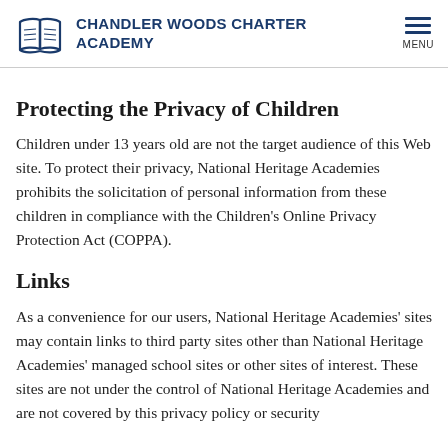CHANDLER WOODS CHARTER ACADEMY
Protecting the Privacy of Children
Children under 13 years old are not the target audience of this Web site. To protect their privacy, National Heritage Academies prohibits the solicitation of personal information from these children in compliance with the Children's Online Privacy Protection Act (COPPA).
Links
As a convenience for our users, National Heritage Academies' sites may contain links to third party sites other than National Heritage Academies' managed school sites or other sites of interest. These sites are not under the control of National Heritage Academies and are not covered by this privacy policy or security